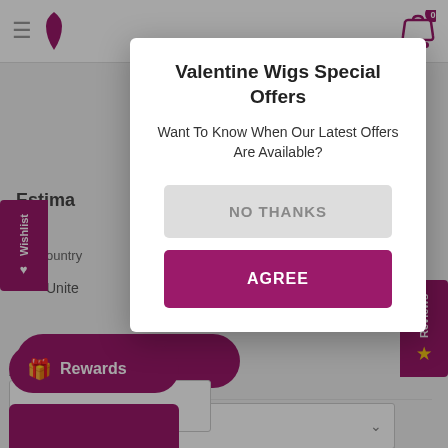[Figure (screenshot): Website header with hamburger menu, logo, and shopping cart icon with badge showing 0]
Estima
Country
Unite
Wishlist
Reviews
Province
British Forces
Zip code
Valentine Wigs Special Offers
Want To Know When Our Latest Offers Are Available?
NO THANKS
AGREE
Rewards